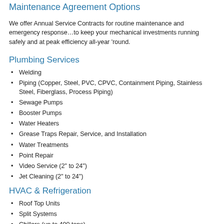Maintenance Agreement Options
We offer Annual Service Contracts for routine maintenance and emergency response…to keep your mechanical investments running safely and at peak efficiency all-year 'round.
Plumbing Services
Welding
Piping (Copper, Steel, PVC, CPVC, Containment Piping, Stainless Steel, Fiberglass, Process Piping)
Sewage Pumps
Booster Pumps
Water Heaters
Grease Traps Repair, Service, and Installation
Water Treatments
Point Repair
Video Service (2" to 24")
Jet Cleaning (2" to 24")
HVAC & Refrigeration
Roof Top Units
Split Systems
Chillers (up to 400 tons)
Heat Pumps